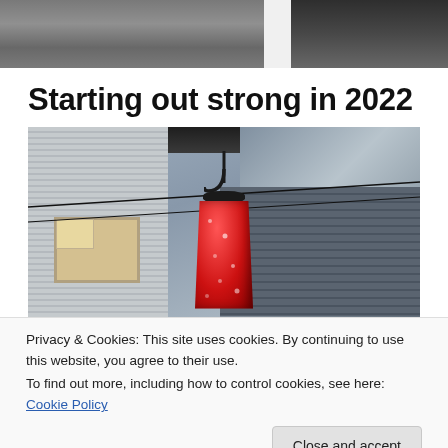[Figure (photo): Top portion of a photograph showing a building/house exterior, cropped at top of page]
Starting out strong in 2022
[Figure (photo): A red hummingbird feeder hanging from a hook in front of a house with white siding and a shingled roof. Power lines visible.]
Privacy & Cookies: This site uses cookies. By continuing to use this website, you agree to their use.
To find out more, including how to control cookies, see here: Cookie Policy
[Figure (photo): Bottom portion of another photograph, partially visible at bottom of page]